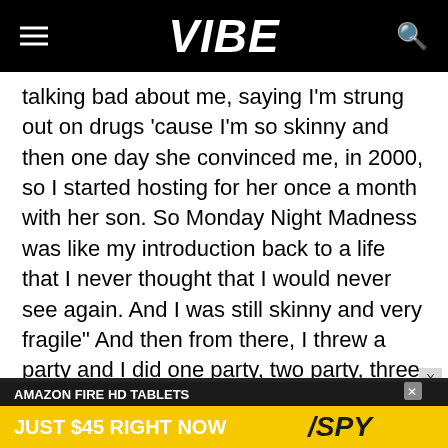VIBE
talking bad about me, saying I'm strung out on drugs 'cause I'm so skinny and then one day she convinced me, in 2000, so I started hosting for her once a month with her son. So Monday Night Madness was like my introduction back to a life that I never thought that I would never see again. And I was still skinny and very fragile” And then from there, I threw a party and I did one party, two party, three parties and I was there for four years.”
Maria looks back at her decision as one that was essential to truly begin living her life in the public
[Figure (infographic): Amazon Fire HD Tablets advertisement banner: AMAZON FIRE HD TABLETS JUST $45 RIGHT NOW with SPY logo]